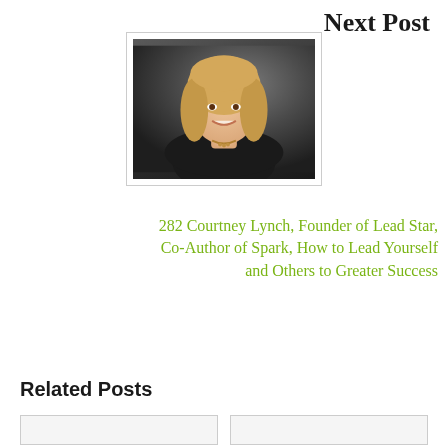Next Post
[Figure (photo): Professional headshot of a blonde woman smiling, wearing a black top, against a dark background]
282 Courtney Lynch, Founder of Lead Star, Co-Author of Spark, How to Lead Yourself and Others to Greater Success
Related Posts